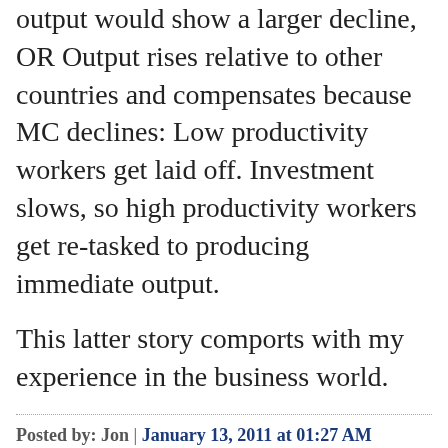comprehensive measure of output would show a larger decline, OR Output rises relative to other countries and compensates because MC declines: Low productivity workers get laid off. Investment slows, so high productivity workers get re-tasked to producing immediate output.
This latter story comports with my experience in the business world.
Posted by: Jon | January 13, 2011 at 01:27 AM
You can argue that it is the